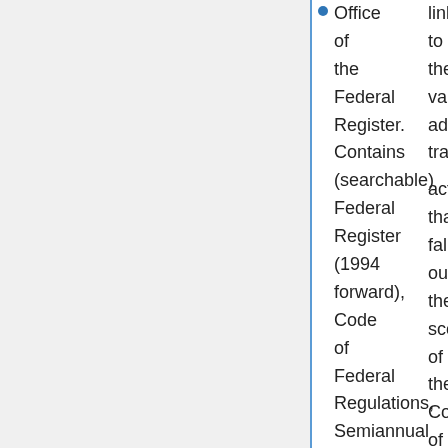Office of the Federal Register. Contains (searchable) Federal Register (1994 forward), Code of Federal Regulations, Semiannual Regulatory Agenda, links to the various administrative actions that fall outside the scope of the Code of Federal Regulations, or